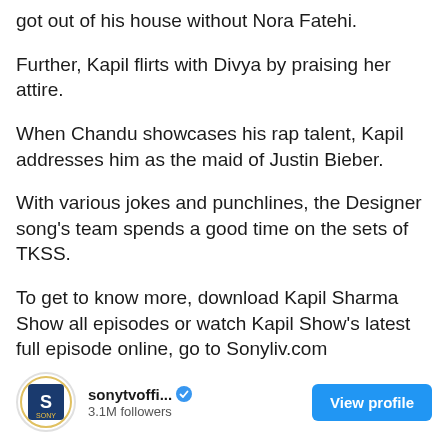got out of his house without Nora Fatehi.
Further, Kapil flirts with Divya by praising her attire.
When Chandu showcases his rap talent, Kapil addresses him as the maid of Justin Bieber.
With various jokes and punchlines, the Designer song's team spends a good time on the sets of TKSS.
To get to know more, download Kapil Sharma Show all episodes or watch Kapil Show's latest full episode online, go to Sonyliv.com
sonytvoffi... 3.1M followers View profile